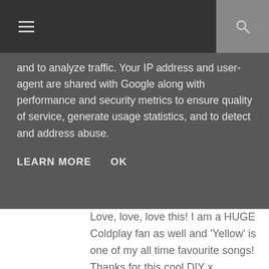Navigation bar with hamburger menu and search icon
and to analyze traffic. Your IP address and user-agent are shared with Google along with performance and security metrics to ensure quality of service, generate usage statistics, and to detect and address abuse.
LEARN MORE   OK
Love, love, love this! I am a HUGE Coldplay fan as well and 'Yellow' is one of my all time favourite songs! Thanks for this cool DIY x
Reply
AOIFE
04 March, 2013 10:43